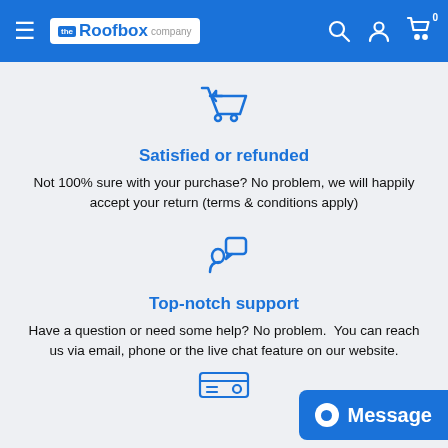the Roofbox company
[Figure (illustration): Shopping cart with return arrow icon in blue outline style]
Satisfied or refunded
Not 100% sure with your purchase? No problem, we will happily accept your return (terms & conditions apply)
[Figure (illustration): Person with speech bubble icon in blue outline style]
Top-notch support
Have a question or need some help? No problem.  You can reach us via email, phone or the live chat feature on our website.
[Figure (illustration): Partial view of a credit card or ID card icon at the bottom]
Message